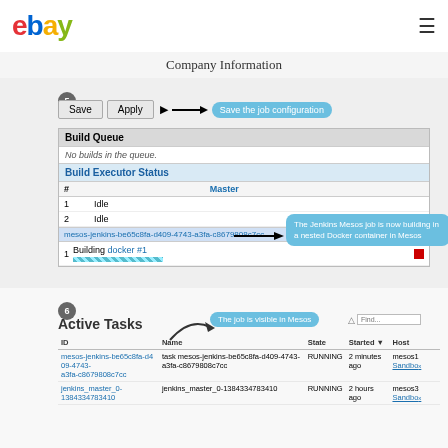ebay | Company Information
Company Information
[Figure (screenshot): Jenkins Build Queue and Build Executor Status panel with Save/Apply buttons. Step 5 badge. Save the job configuration callout bubble with arrow. Build Queue showing 'No builds in the queue.' Build Executor Status table with Master, rows 1 Idle, 2 Idle, mesos-jenkins row, Building docker #1 with progress bar and stop button. Callout: 'The Jenkins Mesos job is now building in a nested Docker container in Mesos']
[Figure (screenshot): Active Tasks table from Mesos. Step 6 badge. Callout bubble 'The job is visible in Mesos'. Table with columns ID, Name, State, Started, Host. Two rows: mesos-jenkins-be65c8fa-d409-4743-a3fa-c8679808c7cc / task mesos-jenkins-be65c8fa-d409-4743-a3fa-c8679808c7cc / RUNNING / 2 minutes ago / mesos1 Sandbox; jenkins_master_0-1384334783410 / jenkins_master_0-1384334783410 / RUNNING / 2 hours ago / mesos3 Sandbox]